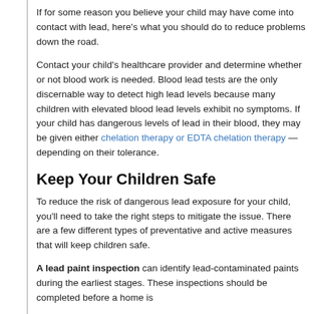If for some reason you believe your child may have come into contact with lead, here's what you should do to reduce problems down the road.
Contact your child's healthcare provider and determine whether or not blood work is needed. Blood lead tests are the only discernable way to detect high lead levels because many children with elevated blood lead levels exhibit no symptoms. If your child has dangerous levels of lead in their blood, they may be given either chelation therapy or EDTA chelation therapy — depending on their tolerance.
Keep Your Children Safe
To reduce the risk of dangerous lead exposure for your child, you'll need to take the right steps to mitigate the issue. There are a few different types of preventative and active measures that will keep children safe.
A lead paint inspection can identify lead-contaminated paints during the earliest stages. These inspections should be completed before a home is